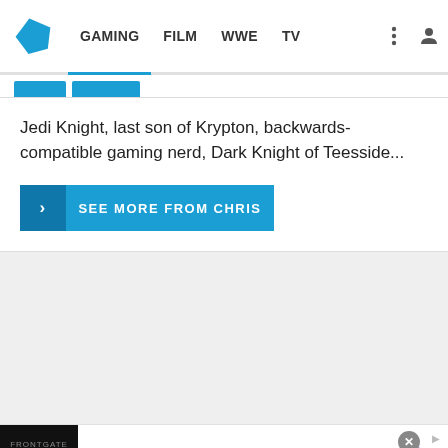GAMING | FILM | WWE | TV
Jedi Knight, last son of Krypton, backwards-compatible gaming nerd, Dark Knight of Teesside...
SEE MORE FROM CHRIS
[Figure (screenshot): Gray empty content area below the card]
[Figure (screenshot): Frontgate advertisement banner with image showing 25% off sitewide sale, titled 'Frontgate: Outdoor Furniture | Bedding', subtitle '25% off site wide sale going on now at Frontgate.com', url 'frontgate.com']